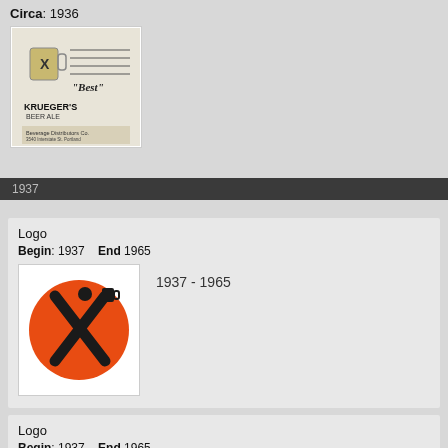Circa: 1936
[Figure (photo): Black and white vintage advertisement for Krueger's Beer with an X logo and text 'Best', distributed by Beverage Distributors Co.]
1937
Logo
Begin: 1937    End 1965
[Figure (logo): Krueger beer logo: orange circle with a black stylized X figure (man-shaped X) holding a beer mug, 1937-1965]
1937 - 1965
Logo
Begin: 1937    End 1965